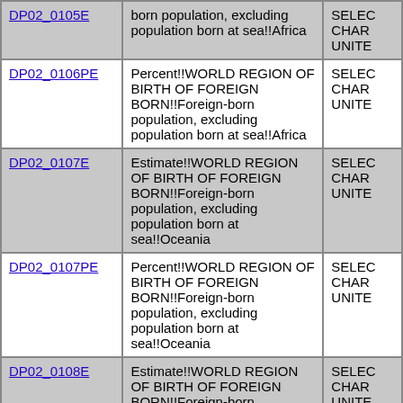| Variable | Description | Source |
| --- | --- | --- |
| DP02_0105E | Estimate!!WORLD REGION OF BIRTH OF FOREIGN BORN!!Foreign-born population, excluding population born at sea!!Africa | SELEC CHARA UNITE |
| DP02_0106PE | Percent!!WORLD REGION OF BIRTH OF FOREIGN BORN!!Foreign-born population, excluding population born at sea!!Africa | SELEC CHARA UNITE |
| DP02_0107E | Estimate!!WORLD REGION OF BIRTH OF FOREIGN BORN!!Foreign-born population, excluding population born at sea!!Oceania | SELEC CHAR UNITE |
| DP02_0107PE | Percent!!WORLD REGION OF BIRTH OF FOREIGN BORN!!Foreign-born population, excluding population born at sea!!Oceania | SELEC CHAR UNITE |
| DP02_0108E | Estimate!!WORLD REGION OF BIRTH OF FOREIGN BORN!!Foreign-born population, excluding population born at sea!!Latin America | SELEC CHAR UNITE |
| DP02_0108PE | Percent!!WORLD REGION OF BIRTH OF FOREIGN BORN!!Foreign-born population, excluding population born at sea!!Latin America | SELEC CHAR UNITE |
| DP02_0109E | Estimate!!WORLD REGION OF... |  |